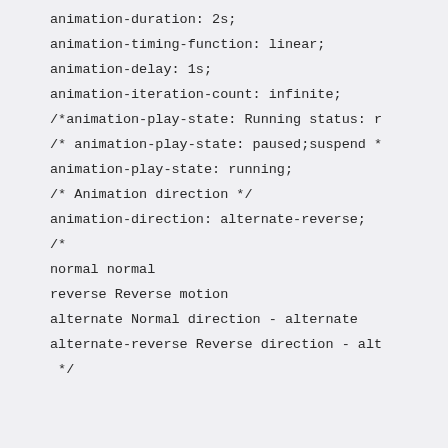animation-duration: 2s;
animation-timing-function: linear;
animation-delay: 1s;
animation-iteration-count: infinite;
/*animation-play-state: Running status: r
/* animation-play-state: paused;suspend *
animation-play-state: running;

/* Animation direction */
animation-direction: alternate-reverse;
/*

normal normal

reverse Reverse motion

alternate Normal direction - alternate

alternate-reverse Reverse direction - alt

 */